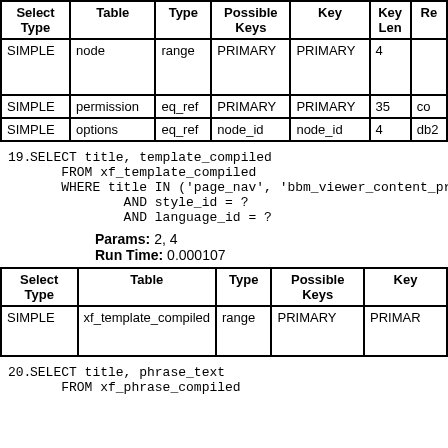| Select Type | Table | Type | Possible Keys | Key | Key Len | Re |
| --- | --- | --- | --- | --- | --- | --- |
| SIMPLE | node | range | PRIMARY | PRIMARY | 4 |  |
| SIMPLE | permission | eq_ref | PRIMARY | PRIMARY | 35 | co |
| SIMPLE | options | eq_ref | node_id | node_id | 4 | db2 |
19. SELECT title, template_compiled
    FROM xf_template_compiled
    WHERE title IN ('page_nav', 'bbm_viewer_content_pro
          AND style_id = ?
          AND language_id = ?
Params: 2, 4
Run Time: 0.000107
| Select Type | Table | Type | Possible Keys | Key |
| --- | --- | --- | --- | --- |
| SIMPLE | xf_template_compiled | range | PRIMARY | PRIMAR |
20. SELECT title, phrase_text
    FROM xf_phrase_compiled